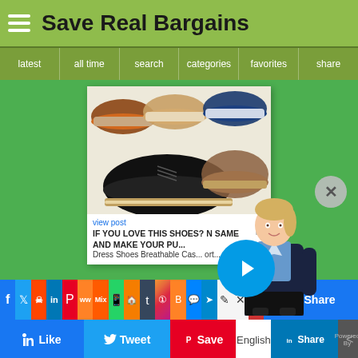Save Real Bargains
latest | all time | search | categories | favorites | share
[Figure (screenshot): Product listing card showing men's casual dress shoes in multiple colors (brown, tan, blue, black), with 'view post' link and text: IF YOU LOVE THIS SHOES? N SAME AND MAKE YOUR PU... ns Dress Shoes Breathable Cas... ort...]
[Figure (illustration): Animated female avatar/assistant character in business attire with play button overlay]
view post
IF YOU LOVE THIS SHOES? N SAME AND MAKE YOUR PU... ns Dress Shoes Breathable Cas... ort...
[Figure (infographic): Social sharing bar with icons: Facebook, Twitter, Reddit, LinkedIn, Pinterest, Mix, WhatsApp, Blogger, Tumblr, Instagram, Blogger, Messenger, Telegram, and other social icons, plus Facebook Share button]
Like
Tweet
Save
English
Share
Powered By VideoPal.io